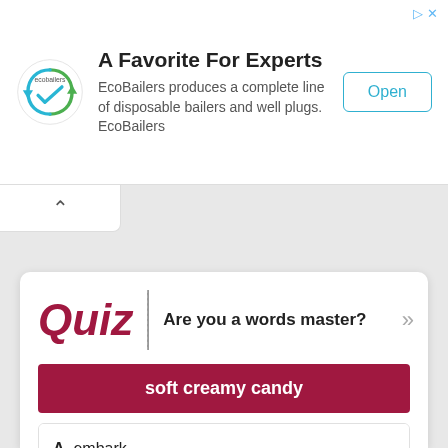[Figure (logo): EcoBailers circular arrow logo in green/teal]
A Favorite For Experts
EcoBailers produces a complete line of disposable bailers and well plugs. EcoBailers
Open
Quiz  Are you a words master?
soft creamy candy
A. embark
B. blur
C. depend